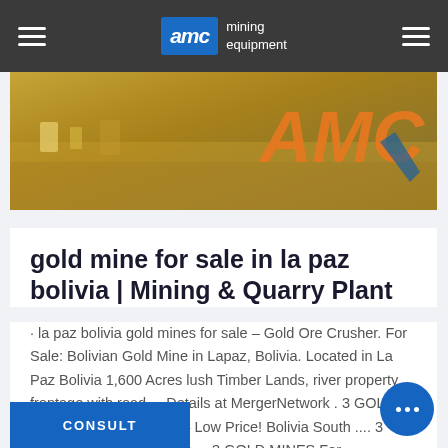AMC mining equipment
[Figure (photo): Aerial or outdoor photo of mining equipment with AMC branding visible in orange letters on the right side, set against a sandy/earthy background.]
gold mine for sale in la paz bolivia | Mining & Quarry Plant
· la paz bolivia gold mines for sale – Gold Ore Crusher. For Sale: Bolivian Gold Mine in Lapaz, Bolivia. Located in La Paz Bolivia 1,600 Acres lush Timber Lands, river property frontage with road.... Details at MergerNetwork . 3 GOLD MINES For Sale/Lease – Low Price! Bolivia South .... 3 GOLD... MINES For Sale ... 3 GOLD MINES For Sale/Lease ...